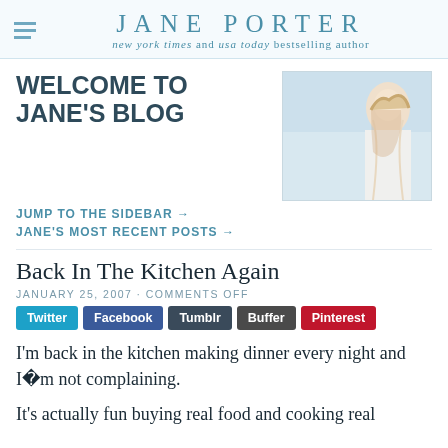JANE PORTER — new york times and usa today bestselling author
WELCOME TO JANE'S BLOG
[Figure (photo): Photo of a blonde woman in white clothing against a light beach/sky background]
JUMP TO THE SIDEBAR →
JANE'S MOST RECENT POSTS →
Back In The Kitchen Again
JANUARY 25, 2007 · COMMENTS OFF
Twitter  Facebook  Tumblr  Buffer  Pinterest
I'm back in the kitchen making dinner every night and I'm not complaining.
It's actually fun buying real food and cooking real